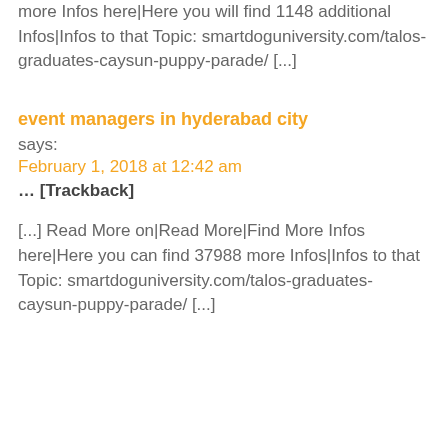more Infos here|Here you will find 1148 additional Infos|Infos to that Topic: smartdoguniversity.com/talos-graduates-caysun-puppy-parade/ [...]
event managers in hyderabad city
says:
February 1, 2018 at 12:42 am
… [Trackback]
[...] Read More on|Read More|Find More Infos here|Here you can find 37988 more Infos|Infos to that Topic: smartdoguniversity.com/talos-graduates-caysun-puppy-parade/ [...]